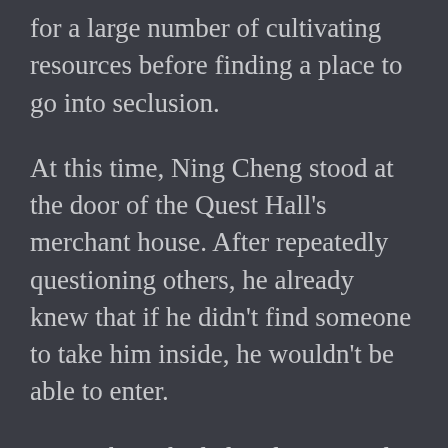for a large number of cultivating resources before finding a place to go into seclusion.
At this time, Ning Cheng stood at the door of the Quest Hall's merchant house. After repeatedly questioning others, he already knew that if he didn't find someone to take him inside, he wouldn't be able to enter.
Ning Cheng had already inquired about when the Dao Confirmation Exchange would start and knew that he had just a little less than half an hour. Seeing many experts entering the merchant house, Ning Cheng felt even more anxious. He also understood that this kind of exchange would have a lot